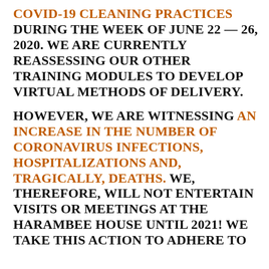COVID-19 CLEANING PRACTICES DURING THE WEEK OF JUNE 22 — 26, 2020. WE ARE CURRENTLY REASSESSING OUR OTHER TRAINING MODULES TO DEVELOP VIRTUAL METHODS OF DELIVERY.
HOWEVER, WE ARE WITNESSING AN INCREASE IN THE NUMBER OF CORONAVIRUS INFECTIONS, HOSPITALIZATIONS AND, TRAGICALLY, DEATHS. WE, THEREFORE, WILL NOT ENTERTAIN VISITS OR MEETINGS AT THE HARAMBEE HOUSE UNTIL 2021! WE TAKE THIS ACTION TO ADHERE TO